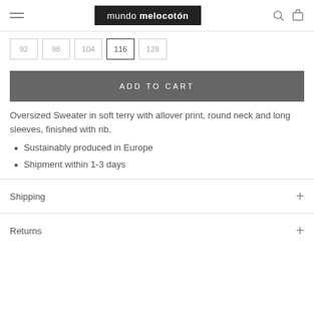mundo melocotón
92  98  104  116  128
ADD TO CART
Oversized Sweater in soft terry with allover print, round neck and long sleeves, finished with rib.
Sustainably produced in Europe
Shipment within 1-3 days
Shipping
Returns